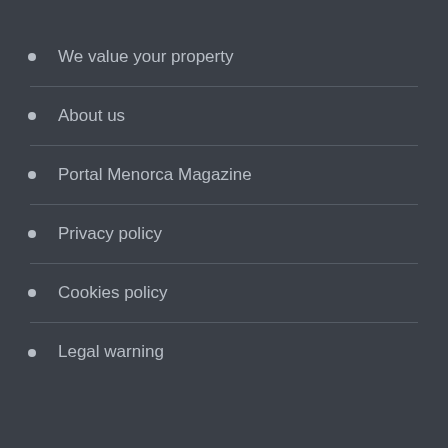We value your property
About us
Portal Menorca Magazine
Privacy policy
Cookies policy
Legal warning